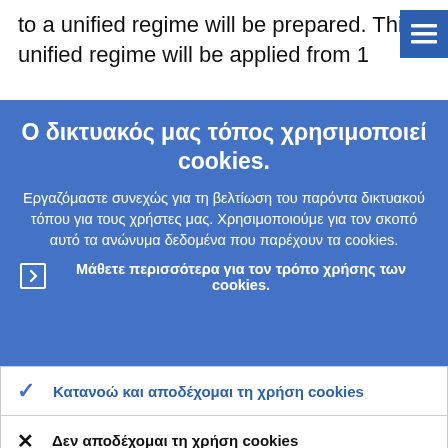to a unified regime will be prepared. This unified regime will be applied from 1
Ο δικτυακός μας τόπος χρησιμοποιεί cookies.
Εργαζόμαστε συνεχώς για τη βελτίωση του παρόντα δικτυακού τόπου για τους χρήστες μας. Χρησιμοποιούμε για τον σκοπό αυτό τα ανώνυμα δεδομένα που παρέχουν τα cookies.
Μάθετε περισσότερα για τον τρόπο χρήσης των cookies.
Κατανοώ και αποδέχομαι τη χρήση cookies
Δεν αποδέχομαι τη χρήση cookies